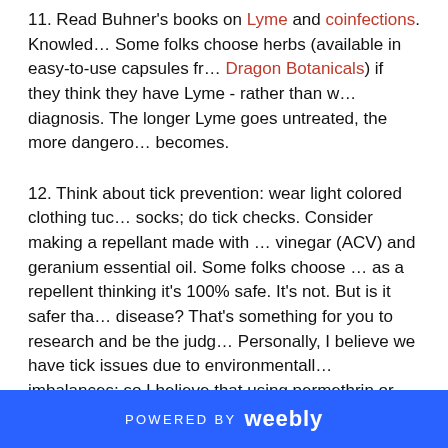11. Read Buhner's books on Lyme and coinfections. Knowledge is power. Some folks choose herbs (available in easy-to-use capsules from Dragon Botanicals) if they think they have Lyme - rather than waiting for a diagnosis. The longer Lyme goes untreated, the more dangerous it becomes.
12. Think about tick prevention: wear light colored clothing tucked into socks; do tick checks. Consider making a repellant made with apple cider vinegar (ACV) and geranium essential oil. Some folks choose permethrin as a repellent thinking it's 100% safe. It's not. But is it safer than the disease? That's something for you to research and be the judge of. Personally, I believe we have tick issues due to environmental imbalances; so I believe that using permethrin or other pesticides that harm bees and pollinators (permethrin kills them also) and contaminate water is only going to further harm the environment and exacerbate the problem. That said, I get why people feel comfortable with permethrin - it's a personal choice. As for DEET - that's super dangerous so pl
POWERED BY weebly